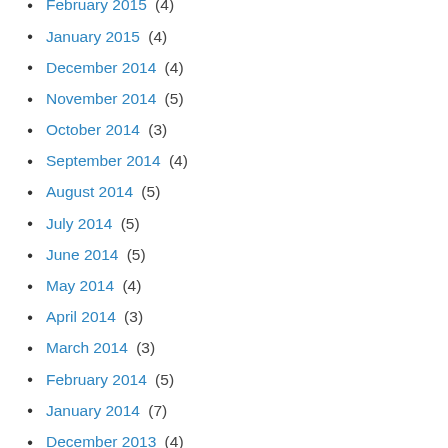February 2015 (4)
January 2015 (4)
December 2014 (4)
November 2014 (5)
October 2014 (3)
September 2014 (4)
August 2014 (5)
July 2014 (5)
June 2014 (5)
May 2014 (4)
April 2014 (3)
March 2014 (3)
February 2014 (5)
January 2014 (7)
December 2013 (4)
November 2013 (4)